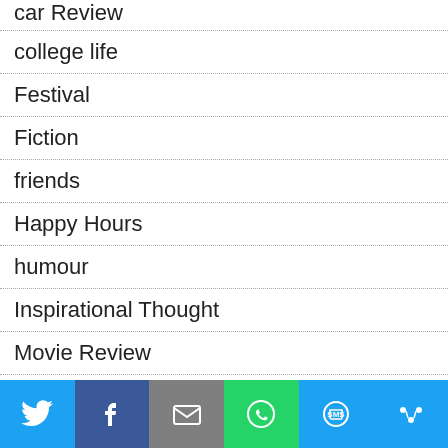car Review
college life
Festival
Fiction
friends
Happy Hours
humour
Inspirational Thought
Movie Review
My life
Nation
[Figure (screenshot): Social share bar with Twitter, Facebook, Email, WhatsApp, SMS, and More buttons]